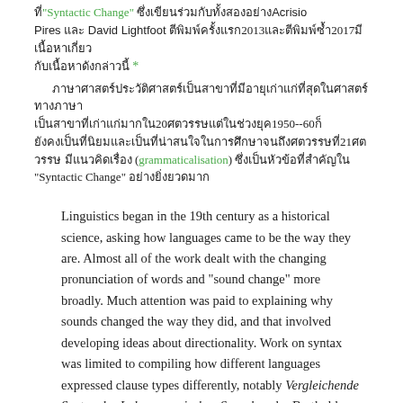ที่ "Syntactic Change" ซึ่งเขียนร่วมกับAcrisio Pires และ David Lightfoot ตีพิมพ์ครั้งแรก2013และตีพิมพ์ซ้ำ2017มีเนื้อหาเกี่ยวกับ  *
ภาษาศาสตร์ประวัติศาสตร์เป็นสาขาที่มีอายุเก่าแก่ที่สุด20ศตวรรษแต่ในช่วงยุค1950--60ก็ยังคงเป็นที่นิยมจนถึงศตวรรษที่21มีแนวคิดเรื่อง (grammaticalisation) ซึ่งเป็นหัวข้อที่น่าสนใจใน"Syntactic Change" อย่างยิ่งยวด
Linguistics began in the 19th century as a historical science, asking how languages came to be the way they are. Almost all of the work dealt with the changing pronunciation of words and "sound change" more broadly. Much attention was paid to explaining why sounds changed the way they did, and that involved developing ideas about directionality. Work on syntax was limited to compiling how different languages expressed clause types differently, notably Vergleichende Syntax der Indogermanischen Sprachen, by Berthold Delbrück.